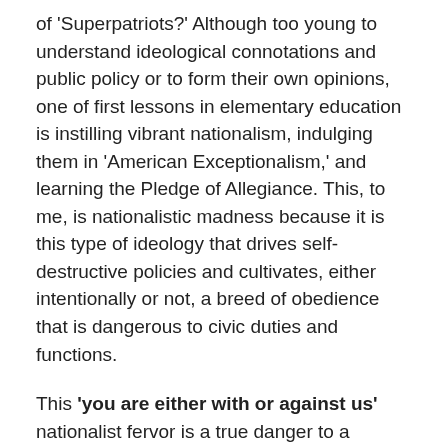of 'Superpatriots?' Although too young to understand ideological connotations and public policy or to form their own opinions, one of first lessons in elementary education is instilling vibrant nationalism, indulging them in 'American Exceptionalism,' and learning the Pledge of Allegiance. This, to me, is nationalistic madness because it is this type of ideology that drives self-destructive policies and cultivates, either intentionally or not, a breed of obedience that is dangerous to civic duties and functions.
This 'you are either with or against us' nationalist fervor is a true danger to a societal vigilance; if anything nationalism should be reasoned, discussed, and accepted voluntarily (if even that) at a certain coming of age, not imposed on the feeblest of minds.